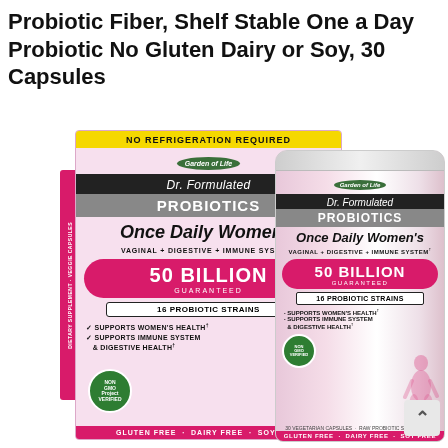Probiotic Fiber, Shelf Stable One a Day Probiotic No Gluten Dairy or Soy, 30 Capsules
[Figure (photo): Garden of Life Dr. Formulated Probiotics Once Daily Women's product — a pink box and a pink canister side by side. Box has yellow 'NO REFRIGERATION REQUIRED' banner, shows '50 BILLION GUARANTEED', '16 PROBIOTIC STRAINS', supports women's health bullets, NON GMO Verified badge. Canister shows same branding. Both show 'GLUTEN FREE • DAIRY FREE • SOY FREE' at bottom.]